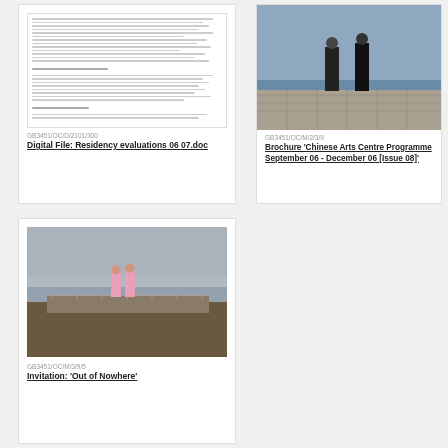[Figure (photo): Document thumbnail showing text content of a residency evaluation file]
GB3451/OC/D/2101/300
Digital File: Residency evaluations 06 07.doc
[Figure (photo): Photo of two people in dark clothing standing on a patterned outdoor area near water]
GB3451/OC/M/2/3/9
Brochure 'Chinese Arts Centre Programme September 06 - December 06 [Issue 08]'
[Figure (photo): Photo of two people in pink clothing standing on a coastal wall or pier with overcast sky]
GB3451/OC/M/3/9/5
Invitation: 'Out of Nowhere'